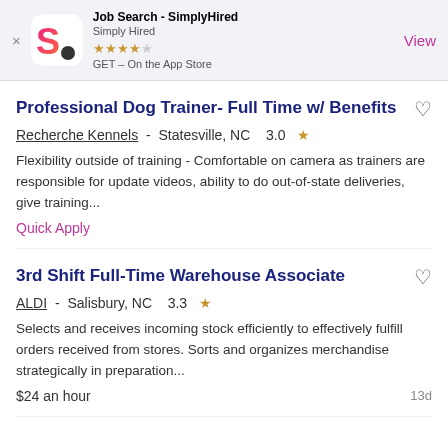[Figure (screenshot): SimplyHired app banner with app icon (pink/magenta S logo), app name 'Job Search - SimplyHired', company 'Simply Hired', 4-star rating, 'GET – On the App Store', and 'View' button]
Professional Dog Trainer- Full Time w/ Benefits
Recherche Kennels -  Statesville, NC  3.0 ★
Flexibility outside of training - Comfortable on camera as trainers are responsible for update videos, ability to do out-of-state deliveries, give training...
Quick Apply
3rd Shift Full-Time Warehouse Associate
ALDI -  Salisbury, NC  3.3 ★
Selects and receives incoming stock efficiently to effectively fulfill orders received from stores. Sorts and organizes merchandise strategically in preparation...
$24 an hour   13d